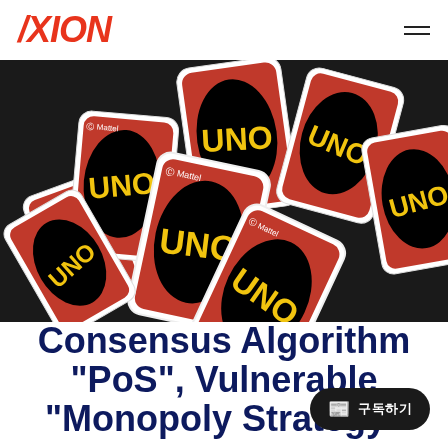AXION
[Figure (photo): Overhead photo of multiple UNO cards spread out, showing red and black UNO card faces with yellow UNO logo text on black background with red oval design]
Consensus Algorithm "PoS", Vulnerable "Monopoly Strategy"